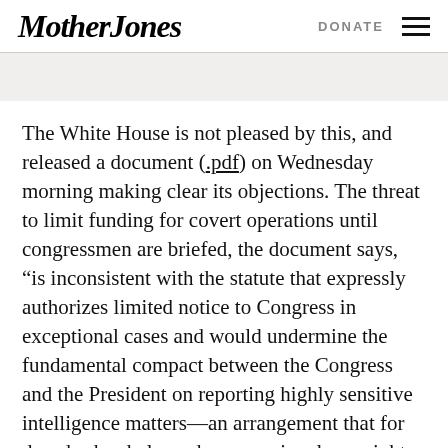Mother Jones   DONATE
The White House is not pleased by this, and released a document (.pdf) on Wednesday morning making clear its objections. The threat to limit funding for covert operations until congressmen are briefed, the document says, “is inconsistent with the statute that expressly authorizes limited notice to Congress in exceptional cases and would undermine the fundamental compact between the Congress and the President on reporting highly sensitive intelligence matters—an arrangement that for decades has balanced congressional oversight